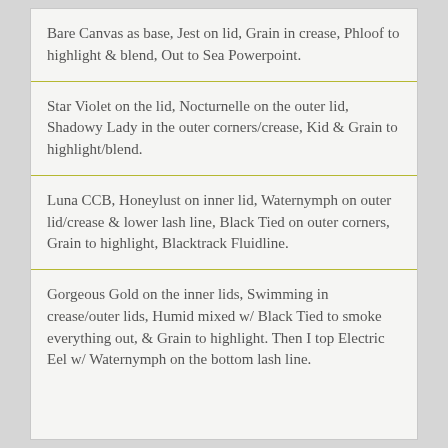Bare Canvas as base, Jest on lid, Grain in crease, Phloof to highlight & blend, Out to Sea Powerpoint.
Star Violet on the lid, Nocturnelle on the outer lid, Shadowy Lady in the outer corners/crease, Kid & Grain to highlight/blend.
Luna CCB, Honeylust on inner lid, Waternymph on outer lid/crease & lower lash line, Black Tied on outer corners, Grain to highlight, Blacktrack Fluidline.
Gorgeous Gold on the inner lids, Swimming in crease/outer lids, Humid mixed w/ Black Tied to smoke everything out, & Grain to highlight. Then I top Electric Eel w/ Waternymph on the bottom lash line.